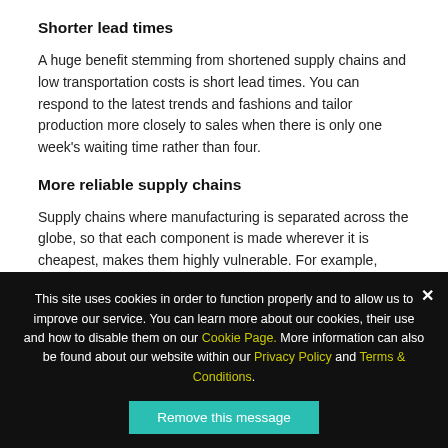Shorter lead times
A huge benefit stemming from shortened supply chains and low transportation costs is short lead times. You can respond to the latest trends and fashions and tailor production more closely to sales when there is only one week's waiting time rather than four.
More reliable supply chains
Supply chains where manufacturing is separated across the globe, so that each component is made wherever it is cheapest, makes them highly vulnerable. For example, extreme weather, natural disasters and political...
This site uses cookies in order to function properly and to allow us to improve our service. You can learn more about our cookies, their use and how to disable them on our Cookie Page. More information can also be found about our website within our Privacy Policy and Terms & Conditions.
Remove this message